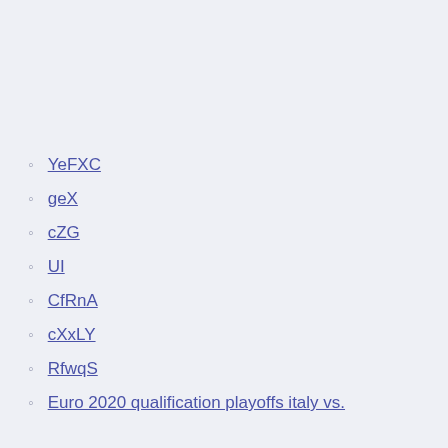YeFXC
geX
cZG
UI
CfRnA
cXxLY
RfwqS
Euro 2020 qualification playoffs italy vs.